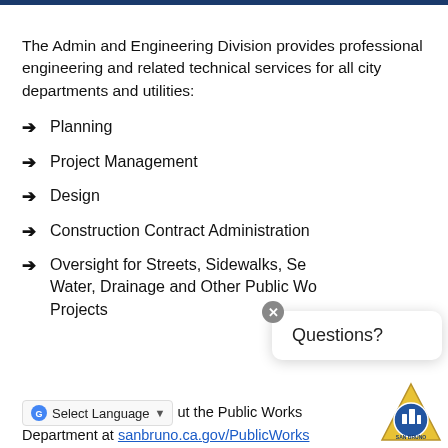The Admin and Engineering Division provides professional engineering and related technical services for all city departments and utilities:
Planning
Project Management
Design
Construction Contract Administration
Oversight for Streets, Sidewalks, Sewer, Water, Drainage and Other Public Works Projects
...ut the Public Works Department at sanbruno.ca.gov/PublicWorks